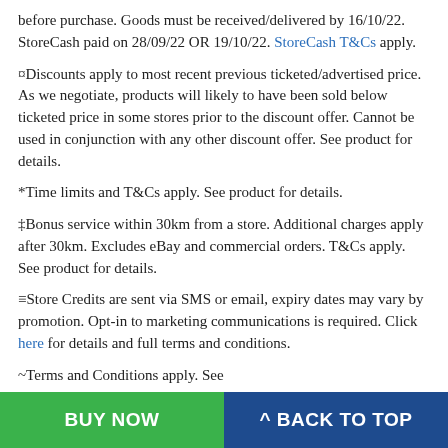before purchase. Goods must be received/delivered by 16/10/22. StoreCash paid on 28/09/22 OR 19/10/22. StoreCash T&Cs apply.
¤Discounts apply to most recent previous ticketed/advertised price. As we negotiate, products will likely to have been sold below ticketed price in some stores prior to the discount offer. Cannot be used in conjunction with any other discount offer. See product for details.
*Time limits and T&Cs apply. See product for details.
‡Bonus service within 30km from a store. Additional charges apply after 30km. Excludes eBay and commercial orders. T&Cs apply. See product for details.
≡Store Credits are sent via SMS or email, expiry dates may vary by promotion. Opt-in to marketing communications is required. Click here for details and full terms and conditions.
~Terms and Conditions apply. See https://tgg.squaretradeup.com.au/terms-and-conditions. Offers for Trade-In vary based on numerous things including the condition and age of your device. SquareTrade is not required to make an offer for all devices. You must be at least 18 years old to be eligible to conduct
BUY NOW
^ BACK TO TOP